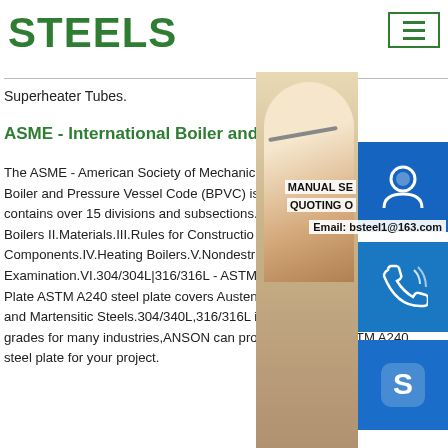STEELS
Superheater Tubes.
ASME - International Boiler and Pressure Vessel Code
The ASME - American Society of Mechanical Engineers Boiler and Pressure Vessel Code (BPVC) is contains over 15 divisions and subsections. Boilers II.Materials.III.Rules for Construction of Nuclear Facility Components.IV.Heating Boilers.V.Nondestructive Examination.VI.304/304L|316/316L - ASTM Plate ASTM A240 steel plate covers Austenitic Steels, Ferritic Steels and Martensitic Steels.304/340L,316/316L is common stainless steel grades for many industries,ANSON can provide you best ASTM A240 steel plate for your project.
[Figure (photo): Customer service representative woman with headset, overlaid with blue icon buttons for support, phone, and Skype contact, and contact information including MANUAL SERVICE, QUOTING, and Email: bsteel1@163.com]